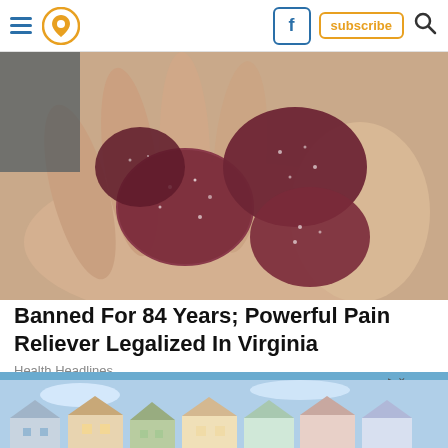Navigation bar with hamburger menu, location pin icon, Facebook icon, subscribe button, search icon
[Figure (photo): Close-up photo of several dark red/burgundy sugar-coated gummy candies resting in a person's palm against a light background]
Banned For 84 Years; Powerful Pain Reliever Legalized In Virginia
Health Headlines
[Figure (photo): Advertisement banner: Hefty brand ad reading 'HEFTY STRONG, FABULOSO FRESH' with Hefty and Fabuloso logos on orange background, with a product image on the right side. Below is a photo of colorful suburban houses.]